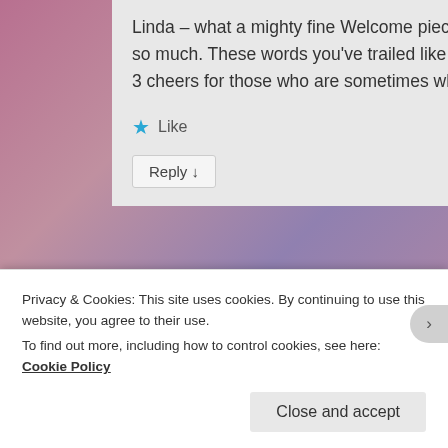Linda – what a mighty fine Welcome piece of feedback to discover on this Welcome page! Thank you so much. These words you've trailed like an exotic, sparkly scarf could equally apply to yourself, I feel. 3 cheers for those who are sometimes whimsical!
★ Like
Reply ↓
Privacy & Cookies: This site uses cookies. By continuing to use this website, you agree to their use.
To find out more, including how to control cookies, see here: Cookie Policy
Close and accept